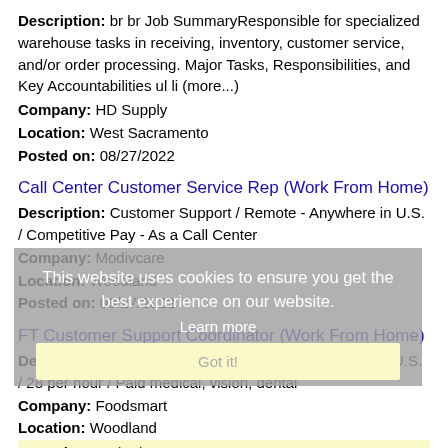Description: br br Job SummaryResponsible for specialized warehouse tasks in receiving, inventory, customer service, and/or order processing. Major Tasks, Responsibilities, and Key Accountabilities ul li (more...)
Company: HD Supply
Location: West Sacramento
Posted on: 08/27/2022
Call Center Customer Service Rep (Work From Home)
Description: Customer Support / Remote - Anywhere in U.S. / Competitive Pay - As a Call Center
Company: Modivcare
Location: Woodland
Posted on: 08/27/2022
FT Customer Support Coordinator (Work From Home)
Description: Customer Service / Remote - Anywhere in U.S. / 28 per hour / Paid medical, vision, dental
Company: Foodsmart
Location: Woodland
Posted on: 08/27/2022
Payroll Specialist
Description: OUR PEOPLE ARE OUR STRATEGY We are growing